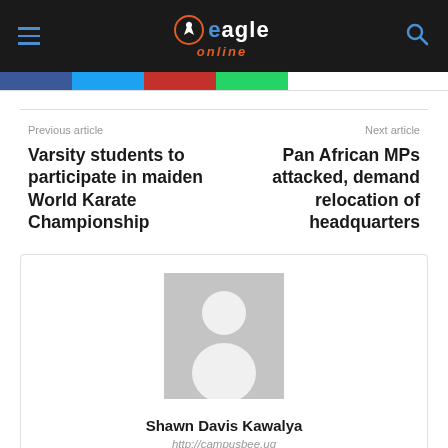Eagle Online
Previous article
Next article
Varsity students to participate in maiden World Karate Championship
Pan African MPs attacked, demand relocation of headquarters
[Figure (photo): Author avatar placeholder — grey silhouette]
Shawn Davis Kawalya
http://campusbee.ug